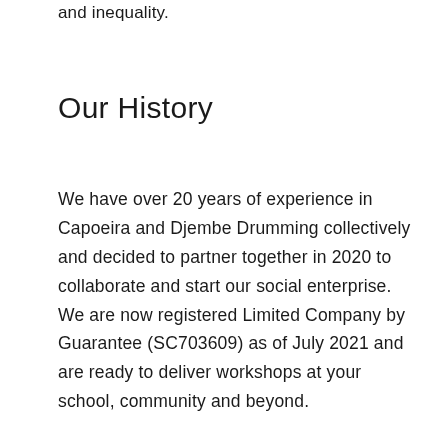and inequality.
Our History
We have over 20 years of experience in Capoeira and Djembe Drumming collectively and decided to partner together in 2020 to collaborate and start our social enterprise. We are now registered Limited Company by Guarantee (SC703609) as of July 2021 and are ready to deliver workshops at your school, community and beyond.